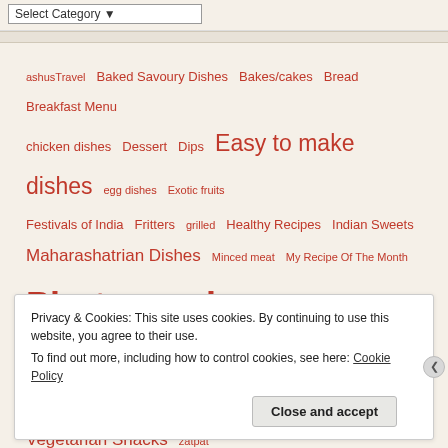Select Category (dropdown)
ashusTravel  Baked Savoury Dishes  Bakes/cakes  Bread  Breakfast Menu  chicken dishes  Dessert  Dips  Easy to make dishes  egg dishes  Exotic fruits  Festivals of India  Fritters  grilled  Healthy Recipes  Indian Sweets  Maharashatrian Dishes  Minced meat  My Recipe Of The Month  Photography  Pizza  Prawns  Salad  Savory Snacks  Spicy Gravy  Steamed Dishes  Tips & Tricks  Vegetarian recipe  Vegetarian Snacks  zatpat sabzi
Privacy & Cookies: This site uses cookies. By continuing to use this website, you agree to their use.
To find out more, including how to control cookies, see here: Cookie Policy
Close and accept